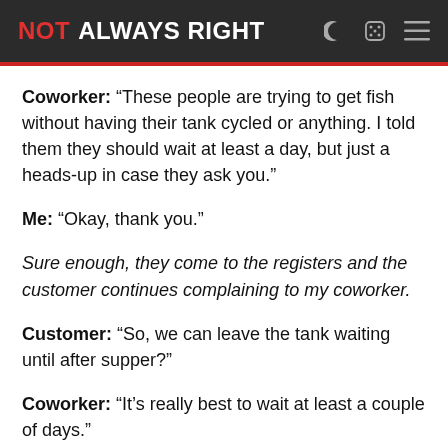NOT ALWAYS RIGHT
Coworker: “These people are trying to get fish without having their tank cycled or anything. I told them they should wait at least a day, but just a heads-up in case they ask you.”
Me: “Okay, thank you.”
Sure enough, they come to the registers and the customer continues complaining to my coworker.
Customer: “So, we can leave the tank waiting until after supper?”
Coworker: “It’s really best to wait at least a couple of days.”
Customer: “We’ll be back later.”